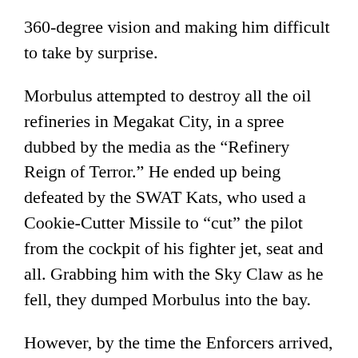360-degree vision and making him difficult to take by surprise.
Morbulus attempted to destroy all the oil refineries in Megakat City, in a spree dubbed by the media as the “Refinery Reign of Terror.” He ended up being defeated by the SWAT Kats, who used a Cookie-Cutter Missile to “cut” the pilot from the cockpit of his fighter jet, seat and all. Grabbing him with the Sky Claw as he fell, they dumped Morbulus into the bay.
However, by the time the Enforcers arrived, all they found of Morbulus was his empty clothes. In his underwear, he slipped away and encountered Dr. Viper, who took him back to his lab in the “dead forest” of Megakat Swamp, where he he explained